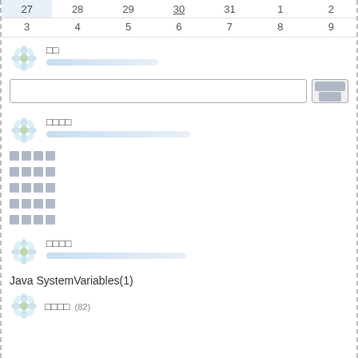| 27 | 28 | 29 | 30 | 31 | 1 | 2 |
| --- | --- | --- | --- | --- | --- | --- |
| 3 | 4 | 5 | 6 | 7 | 8 | 9 |
□□
[Figure (other): User avatar icon (flower/daisy graphic)]
□□□□
[Figure (other): Search input field with button]
□□□□
[Figure (other): User avatar icon (flower/daisy graphic)]
□□□□
□□□□
□□□□
□□□□
□□□□
□□□□
[Figure (other): User avatar icon (flower/daisy graphic)]
Java SystemVariables(1)
[Figure (other): User avatar icon (flower/daisy graphic)]
□□□□ (82)